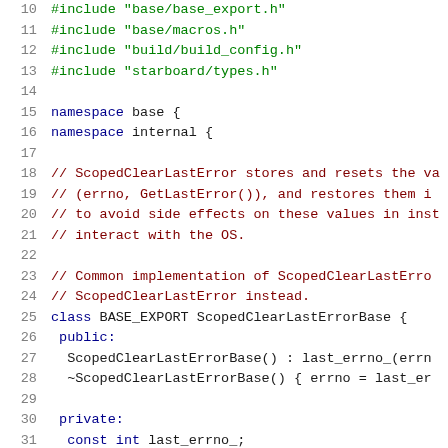[Figure (screenshot): Source code viewer showing C++ header file with line numbers 10-31. Lines 10-13 show #include directives in green. Lines 15-16 show namespace declarations in blue. Lines 18-24 show comments in dark red. Lines 25-31 show class definition with constructor, destructor, and member variable.]